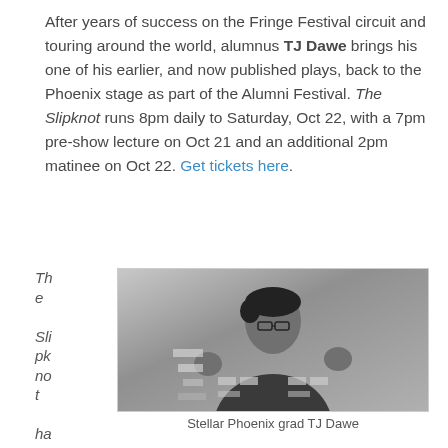After years of success on the Fringe Festival circuit and touring around the world, alumnus TJ Dawe brings his one of his earlier, and now published plays, back to the Phoenix stage as part of the Alumni Festival. The Slipknot runs 8pm daily to Saturday, Oct 22, with a 7pm pre-show lecture on Oct 21 and an additional 2pm matinee on Oct 22. Get tickets here.
The Slipknot has been
[Figure (photo): Black and white photo of TJ Dawe on stage, gesturing with both hands, wearing glasses and a dark jacket.]
Stellar Phoenix grad TJ Dawe